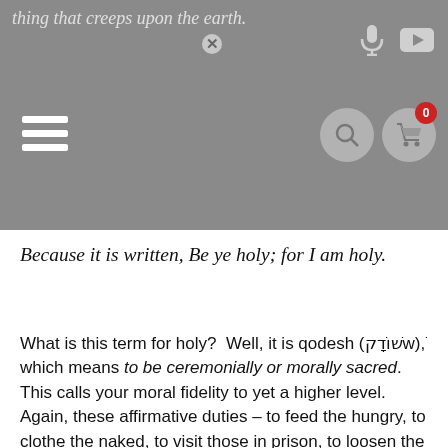thing that creeps upon the earth.
Because it is written, Be ye holy; for I am holy.
What is this term for holy?  Well, it is qodesh (וֹׁדָקwׁ), which means to be ceremonially or morally sacred. This calls your moral fidelity to yet a higher level.  Again, these affirmative duties – to feed the hungry, to clothe the naked, to visit those in prison, to loosen the yoke of oppression, and to restore yourself to your own flesh, and more, - are acts of holiness and righteousness which are apart